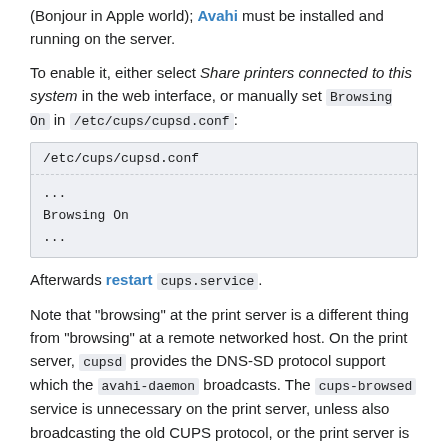(Bonjour in Apple world); Avahi must be installed and running on the server.
To enable it, either select Share printers connected to this system in the web interface, or manually set Browsing On in /etc/cups/cupsd.conf:
[Figure (other): Code block showing /etc/cups/cupsd.conf filename as header and '...
Browsing On
...' as body content]
Afterwards restart cups.service.
Note that "browsing" at the print server is a different thing from "browsing" at a remote networked host. On the print server, cupsd provides the DNS-SD protocol support which the avahi-daemon broadcasts. The cups-browsed service is unnecessary on the print server, unless also broadcasting the old CUPS protocol, or the print server is also "browsing" for other networked printers. On the remote networked host, the